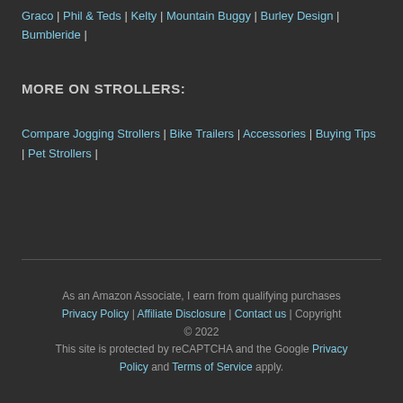Graco | Phil & Teds | Kelty | Mountain Buggy | Burley Design | Bumbleride |
MORE ON STROLLERS:
Compare Jogging Strollers | Bike Trailers | Accessories | Buying Tips | Pet Strollers |
As an Amazon Associate, I earn from qualifying purchases Privacy Policy | Affiliate Disclosure | Contact us | Copyright © 2022 This site is protected by reCAPTCHA and the Google Privacy Policy and Terms of Service apply.